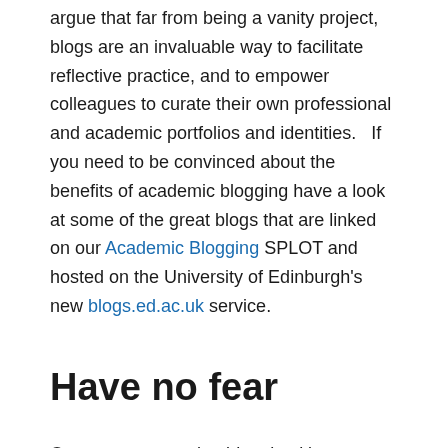argue that far from being a vanity project, blogs are an invaluable way to facilitate reflective practice, and to empower colleagues to curate their own professional and academic portfolios and identities.   If you need to be convinced about the benefits of academic blogging have a look at some of the great blogs that are linked on our Academic Blogging SPLOT and hosted on the University of Edinburgh's new blogs.ed.ac.uk service.
Have no fear
Once you get used to blogging it's easy to forget just how terrifying it can be to hit that little blue Publish button if you're not used to putting your